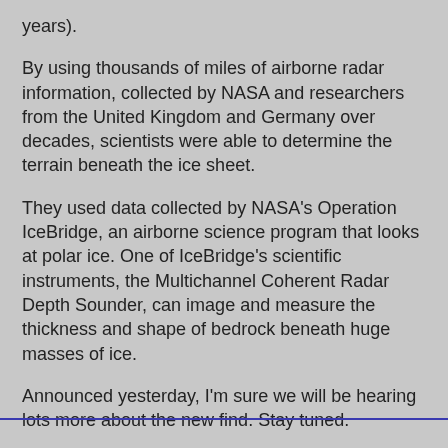years).
By using thousands of miles of airborne radar information, collected by NASA and researchers from the United Kingdom and Germany over decades, scientists were able to determine the terrain beneath the ice sheet.
They used data collected by NASA's Operation IceBridge, an airborne science program that looks at polar ice. One of IceBridge's scientific instruments, the Multichannel Coherent Radar Depth Sounder, can image and measure the thickness and shape of bedrock beneath huge masses of ice.
Announced yesterday, I'm sure we will be hearing lots more about the new find. Stay tuned.
Science Whisperer at 12:23 PM    No comments:
Share